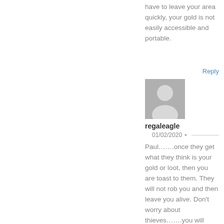have to leave your area quickly, your gold is not easily accessible and portable.
Reply
[Figure (illustration): Generic grey avatar silhouette icon for user regaleagle]
regaleagle
01/02/2020 •
Paul…….once they get what they think is your gold or loot, then you are toast to them. They will not rob you and then leave you alive. Don't worry about thieves…….you will